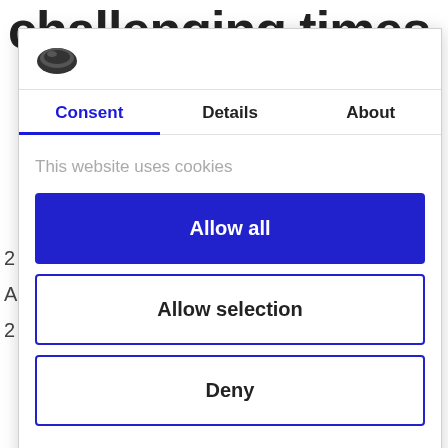challenging times
[Figure (logo): Cookiebot shield/cookie logo icon in dark color]
Consent | Details | About
This website uses cookies
Allow all
Allow selection
Deny
Powered by Cookiebot by Usercentrics